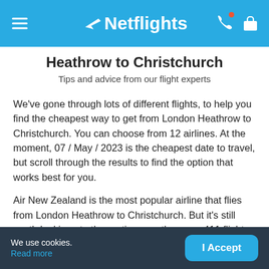Netflights
Heathrow to Christchurch
Tips and advice from our flight experts
We've gone through lots of different flights, to help you find the cheapest way to get from London Heathrow to Christchurch. You can choose from 12 airlines. At the moment, 07 / May / 2023 is the cheapest date to travel, but scroll through the results to find the option that works best for you.
Air New Zealand is the most popular airline that flies from London Heathrow to Christchurch. But it's still worth looking at other options, as there are 411 flights to Christchurch every week. If you want to broaden your search, look at flights departing from other airports.
We use cookies. Read more | I Accept